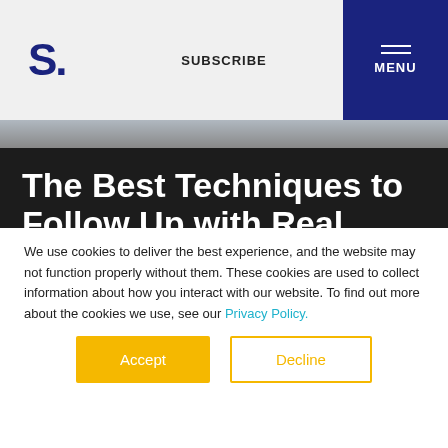S. | SUBSCRIBE | MENU
The Best Techniques to Follow Up with Real Estate Leads
Following up with potential clients is
We use cookies to deliver the best experience, and the website may not function properly without them. These cookies are used to collect information about how you interact with our website. To find out more about the cookies we use, see our Privacy Policy.